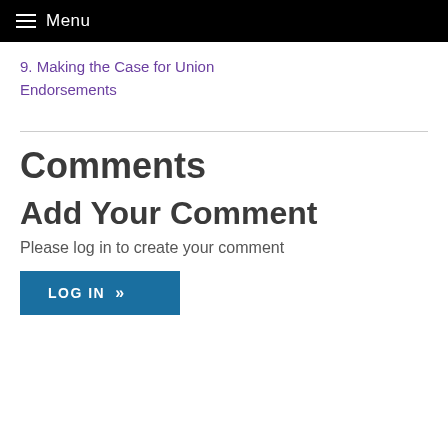Menu
9. Making the Case for Union Endorsements
Comments
Add Your Comment
Please log in to create your comment
LOG IN »